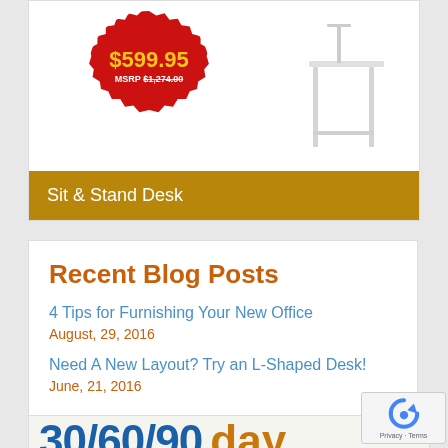[Figure (photo): Product price badge showing $599.95 sale price and MSRP $1,274.00 on red starburst badge, with a white sit-stand desk image beside it]
Sit & Stand Desk
Recent Blog Posts
4 Tips for Furnishing Your New Office
August, 29, 2016
Need A New Layout? Try an L-Shaped Desk!
June, 21, 2016
[Figure (infographic): 30/60/90 day banner in blue and orange large text]